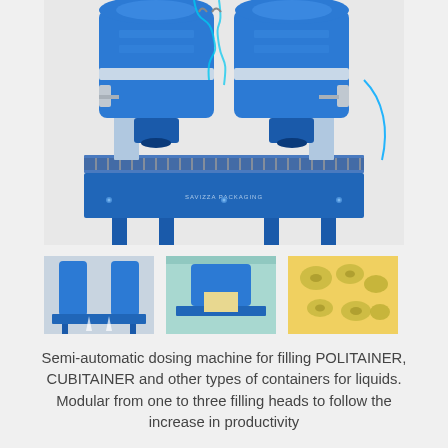[Figure (photo): Large blue semi-automatic dosing/filling machine with two filling heads, roller conveyor belt base, and pneumatic hoses. Brand label reads SAVIZZA PACKAGING.]
[Figure (photo): Thumbnail 1: Blue filling machine in operation dispensing liquid into container on roller conveyor.]
[Figure (photo): Thumbnail 2: Filling machine with cardboard box being filled on roller conveyor, teal/green background.]
[Figure (photo): Thumbnail 3: Various metallic nozzle/fitting parts on yellow background.]
Semi-automatic dosing machine for filling POLITAINER, CUBITAINER and other types of containers for liquids. Modular from one to three filling heads to follow the increase in productivity